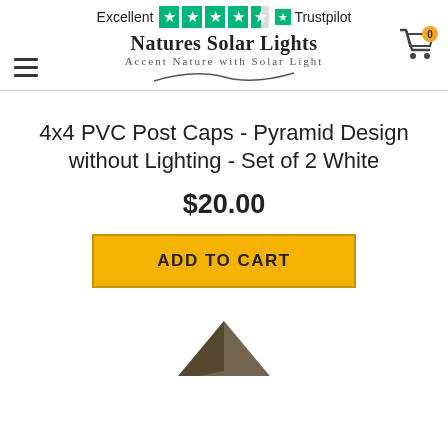Excellent ★★★★½ Trustpilot
[Figure (logo): Natures Solar Lights logo with tagline 'Accent Nature with Solar Light' and swoosh graphic]
4x4 PVC Post Caps - Pyramid Design without Lighting - Set of 2 White
$20.00
ADD TO CART
[Figure (photo): Partial product image of the PVC post cap visible at bottom of page]